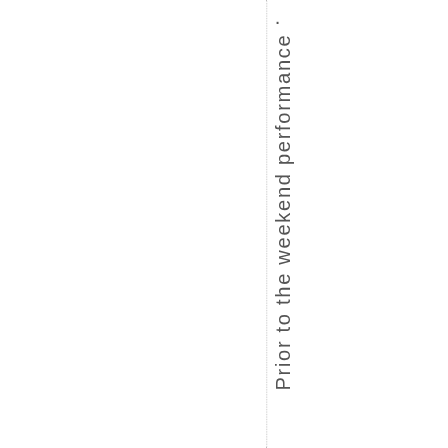. Prior to the weekend performance